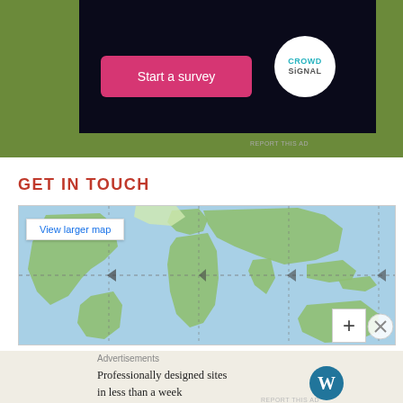[Figure (screenshot): Advertisement banner with dark background, pink 'Start a survey' button, and CrowdSignal logo circle on olive/green background]
REPORT THIS AD
GET IN TOUCH
[Figure (map): Embedded Google Maps world map showing continents and oceans with dashed grid lines, 'View larger map' button, and zoom plus button]
Advertisements
[Figure (screenshot): WordPress advertisement: 'Professionally designed sites in less than a week' with WordPress logo]
REPORT THIS AD